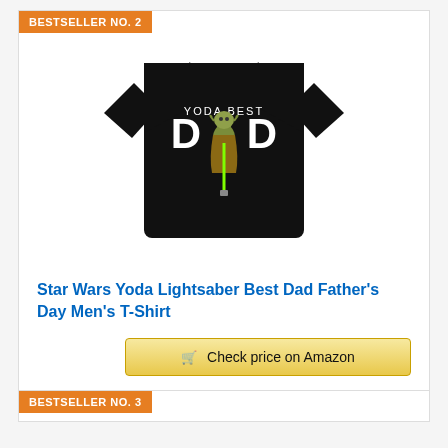BESTSELLER NO. 2
[Figure (photo): Black t-shirt with 'YODA BEST DAD' text and Yoda holding a lightsaber graphic]
Star Wars Yoda Lightsaber Best Dad Father's Day Men's T-Shirt
Check price on Amazon
BESTSELLER NO. 3